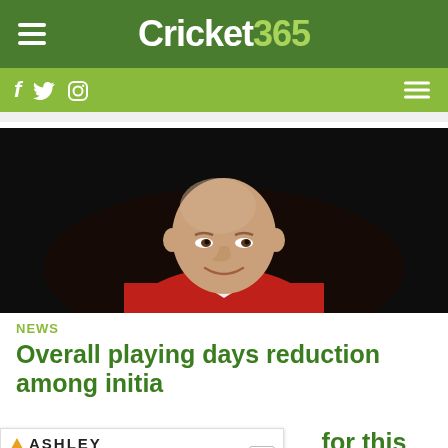Cricket365
[Figure (photo): Bald man in red cricket/sports jacket smiling against dark background]
NEWS
Overall playing days reduction among initial recommendations for this review